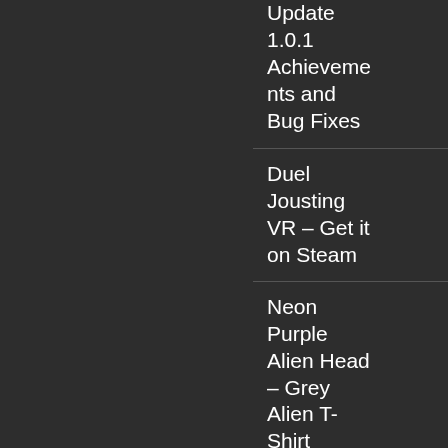Update 1.0.1 Achievements and Bug Fixes
Duel Jousting VR – Get it on Steam
Neon Purple Alien Head – Grey Alien T-Shirt
Neon Green